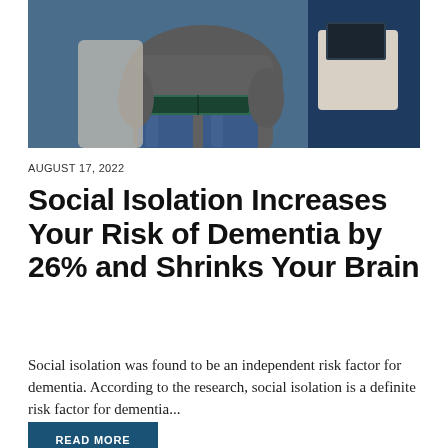[Figure (photo): A person sitting in a chair holding a book on their lap, photographed from neck down, wearing jeans and a grey top, with a blue background and a white chair/sofa armrest visible]
AUGUST 17, 2022
Social Isolation Increases Your Risk of Dementia by 26% and Shrinks Your Brain
Social isolation was found to be an independent risk factor for dementia. According to the research, social isolation is a definite risk factor for dementia...
READ MORE